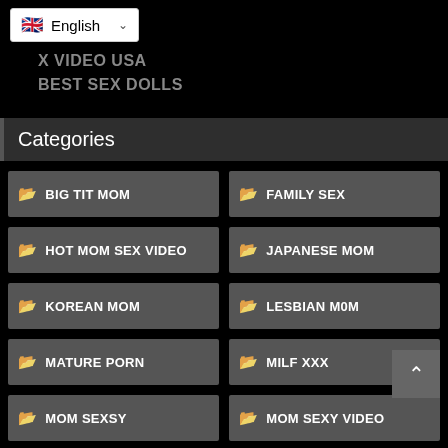[Figure (screenshot): Language selector dropdown showing UK flag and 'English' text with dropdown arrow]
X VIDEO USA
BEST SEX DOLLS
Categories
BIG TIT MOM
FAMILY SEX
HOT MOM SEX VIDEO
JAPANESE MOM
KOREAN MOM
LESBIAN M0M
MATURE PORN
MILF XXX
MOM SEXSY
MOM SEXY VIDEO